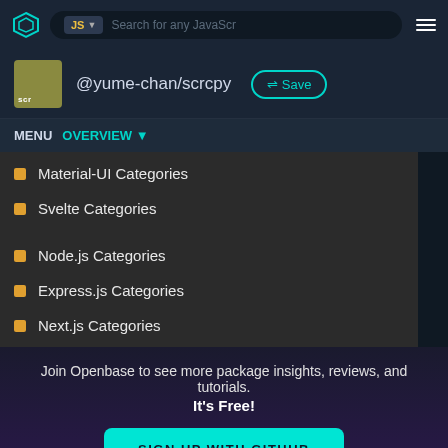[Figure (screenshot): Openbase navigation bar with shield logo, JS language selector, search bar]
@yume-chan/scrcpy
Save
MENU OVERVIEW
Material-UI Categories
Svelte Categories
Node.js Categories
Express.js Categories
Next.js Categories
Join Openbase to see more package insights, reviews, and tutorials. It's Free!
SIGN UP WITH GITHUB
By signing up, you agree to our terms and privacy policy